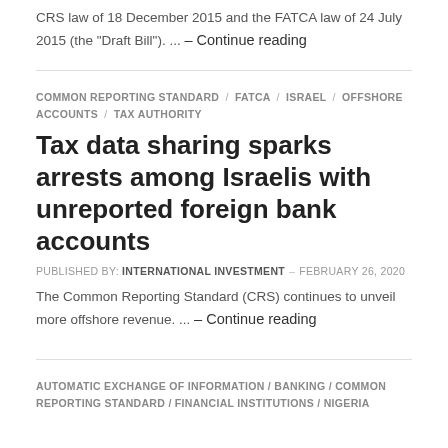CRS law of 18 December 2015 and the FATCA law of 24 July 2015 (the "Draft Bill"). ... – Continue reading
COMMON REPORTING STANDARD / FATCA / ISRAEL / OFFSHORE ACCOUNTS / TAX AUTHORITY
Tax data sharing sparks arrests among Israelis with unreported foreign bank accounts
PUBLISHED BY: INTERNATIONAL INVESTMENT – FEBRUARY 26, 2020
The Common Reporting Standard (CRS) continues to unveil more offshore revenue. ... – Continue reading
AUTOMATIC EXCHANGE OF INFORMATION / BANKING / COMMON REPORTING STANDARD / FINANCIAL INSTITUTIONS / NIGERIA